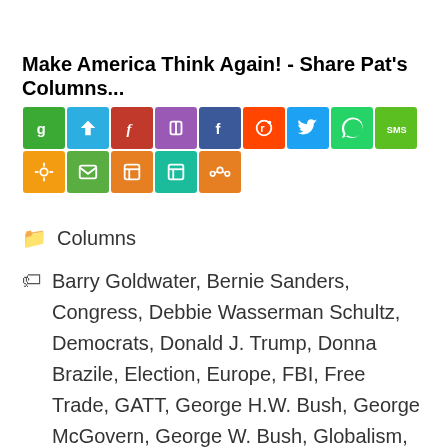Make America Think Again! - Share Pat's Columns...
[Figure (infographic): Row of social media share buttons including Getpocket, Telegram, Flipboard, Parler, Facebook, Reddit, Twitter, WhatsApp, SMS, Copy Link, Email, Print, Print, and a Share button in various colors]
Columns
Barry Goldwater, Bernie Sanders, Congress, Debbie Wasserman Schultz, Democrats, Donald J. Trump, Donna Brazile, Election, Europe, FBI, Free Trade, GATT, George H.W. Bush, George McGovern, George W. Bush, Globalism, GOP, Hillary Clinton, Illegal Immigration, Impeachment, John F. Kennedy, Mitt Romney, NA..., Nancy Pelosi, ObamaCare, Richard M. Nixon, Socialism,